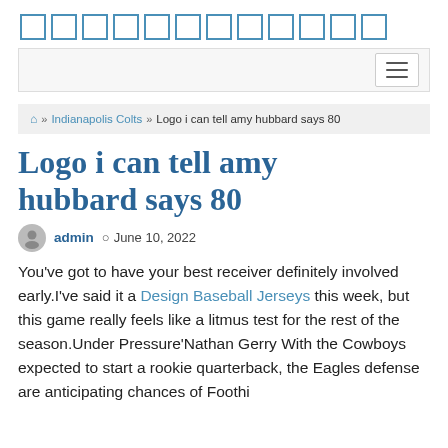[Figure (logo): Row of square bracket/box outline characters forming a site logo in blue]
[Figure (other): Navigation bar with hamburger menu button on the right]
🏠 » Indianapolis Colts » Logo i can tell amy hubbard says 80
Logo i can tell amy hubbard says 80
admin  © June 10, 2022
You've got to have your best receiver definitely involved early.I've said it a Design Baseball Jerseys this week, but this game really feels like a litmus test for the rest of the season.Under Pressure'Nathan Gerry With the Cowboys expected to start a rookie quarterback, the Eagles defense are anticipating chances of Football...